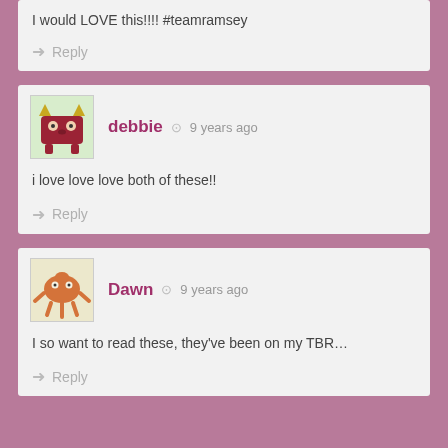I would LOVE this!!!! #teamramsey
Reply
[Figure (illustration): Red monster avatar for user debbie]
debbie  9 years ago
i love love love both of these!!
Reply
[Figure (illustration): Orange crab monster avatar for user Dawn]
Dawn  9 years ago
I so want to read these, they've been on my TBR…
Reply